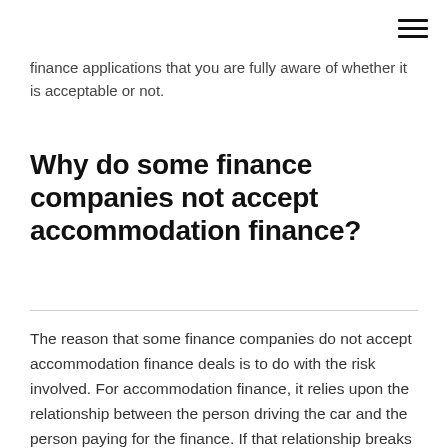≡
finance applications that you are fully aware of whether it is acceptable or not.
Why do some finance companies not accept accommodation finance?
The reason that some finance companies do not accept accommodation finance deals is to do with the risk involved. For accommodation finance, it relies upon the relationship between the person driving the car and the person paying for the finance. If that relationship breaks down (for whatever reason), there is no guarantee that the car is returned to the finance company at the end of the